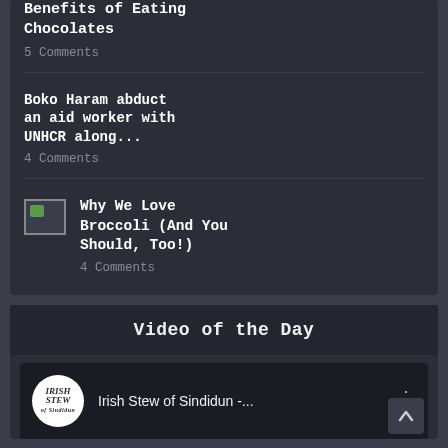Benefits of Eating Chocolates
5 Comments
Boko Haram abduct an aid worker with UNHCR along...
4 Comments
[Figure (photo): Small thumbnail image placeholder with partial green element visible]
Why We Love Broccoli (And You Should, Too!)
4 Comments
Video of the Day
[Figure (screenshot): Video player showing Irish Stew of Sindidun - ... with channel logo and options menu icon]